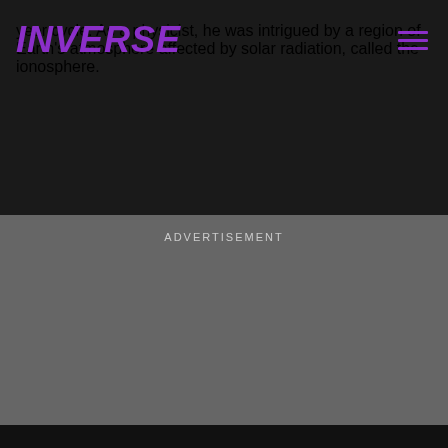INVERSE
year cycle. As a physicist, he was intrigued by a region of Earth's atmosphere affected by solar radiation, called the ionosphere.
ADVERTISEMENT